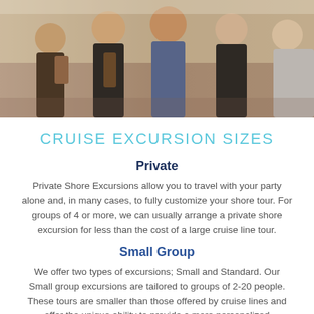[Figure (photo): Group of young people walking together outdoors, carrying bags, likely tourists on an excursion]
CRUISE EXCURSION SIZES
Private
Private Shore Excursions allow you to travel with your party alone and, in many cases, to fully customize your shore tour. For groups of 4 or more, we can usually arrange a private shore excursion for less than the cost of a large cruise line tour.
Small Group
We offer two types of excursions; Small and Standard. Our Small group excursions are tailored to groups of 2-20 people. These tours are smaller than those offered by cruise lines and offer the unique ability to provide a more personalized